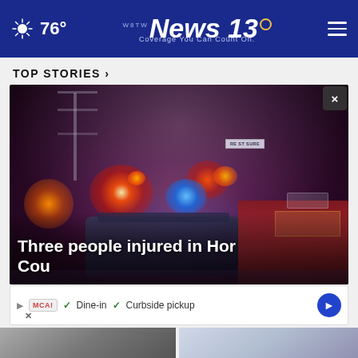76° | WBTW News 13 | Coverage You Can Count On.
TOP STORIES ›
[Figure (photo): Night scene with police car and fire truck at emergency scene, red and blue emergency lights glowing through smoky haze]
Three people injured in Hor County
✓ Dine-in ✓ Curbside pickup [Ad banner with MCA logo and navigation arrow, with × close button]
[Figure (photo): Bottom left thumbnail - grayscale scene]
[Figure (photo): Bottom right thumbnail - light blue/grey scene]